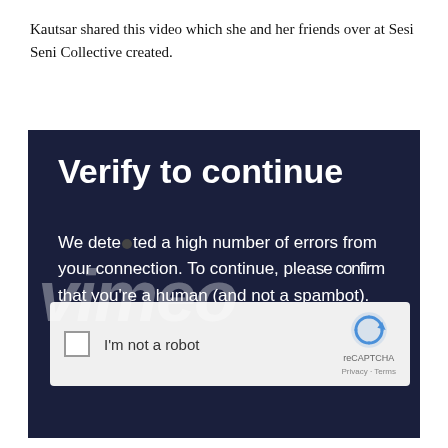Kautsar shared this video which she and her friends over at Sesi Seni Collective created.
[Figure (screenshot): A Vimeo 'Verify to continue' CAPTCHA page with dark navy background, showing a reCAPTCHA checkbox widget with the Vimeo watermark logo overlaid on the verification text.]